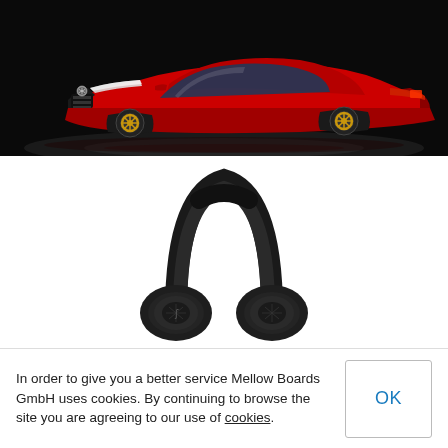[Figure (photo): Red Mercedes-AMG GT concept car on dark background, front three-quarter view showing aggressive styling, illuminated headlights and gold-colored alloy wheels]
[Figure (photo): Black over-ear headphones (Mellow Boards) on white background, showing cushioned headband and ear cups with metallic sliders]
In order to give you a better service Mellow Boards GmbH uses cookies. By continuing to browse the site you are agreeing to our use of cookies.